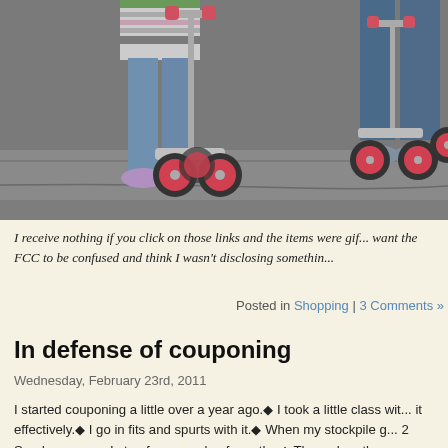[Figure (photo): Two children standing on pink scooters on a paved surface. One child wears a striped shirt and jeans, the other wears jeans. The scooters have pink wheels.]
I receive nothing if you click on those links and the items were gif... want the FCC to be confused and think I wasn't disclosing somethin...
Posted in Shopping | 3 Comments »
In defense of couponing
Wednesday, February 23rd, 2011
I started couponing a little over a year ago.◆ I took a little class wit... it effectively.◆ I go in fits and spurts with it.◆ When my stockpile g... 2 Sunday papers. I stop for a couple of months.◆ Then when th...